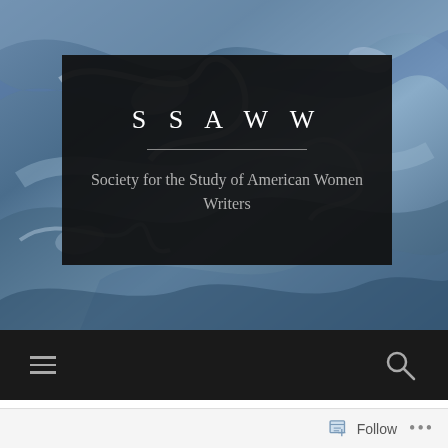[Figure (illustration): Abstract swirling blue and white marble-like background image covering the hero section of the SSAWW website header]
SSAWW
Society for the Study of American Women Writers
[Figure (screenshot): Dark navigation bar with hamburger menu icon on the left and search (magnifying glass) icon on the right]
T...